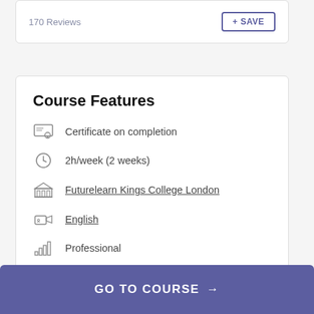170 Reviews
Course Features
Certificate on completion
2h/week (2 weeks)
Futurelearn Kings College London
English
Professional
GO TO COURSE →